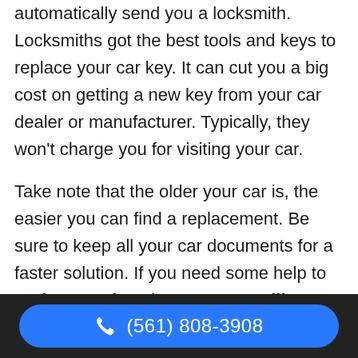automatically send you a locksmith. Locksmiths got the best tools and keys to replace your car key. It can cut you a big cost on getting a new key from your car dealer or manufacturer. Typically, they won't charge you for visiting your car.
Take note that the older your car is, the easier you can find a replacement. Be sure to keep all your car documents for a faster solution. If you need some help to replace car key, just contact Wellington Towing anytime!
(561) 808-3908